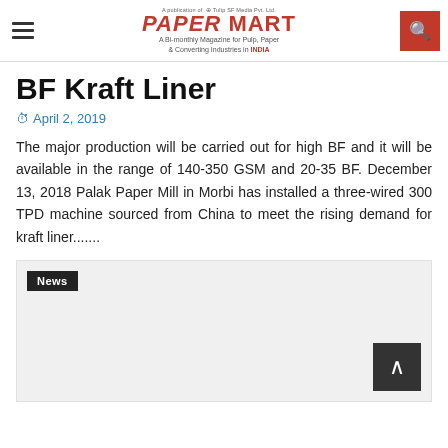Paper Mart — A Bi-monthly Magazine for Pulp, Paper & Converting Industries in INDIA
BF Kraft Liner
April 2, 2019
The major production will be carried out for high BF and it will be available in the range of 140-350 GSM and 20-35 BF. December 13, 2018 Palak Paper Mill in Morbi has installed a three-wired 300 TPD machine sourced from China to meet the rising demand for kraft liner.......
[Figure (other): News image placeholder with 'News' label tag in top-left corner]